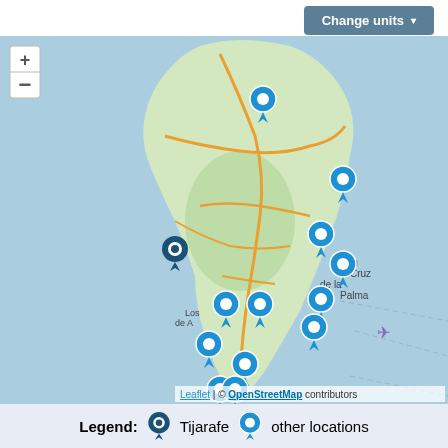[Figure (map): Interactive map of La Palma island (Canary Islands) showing Leaflet/OpenStreetMap map with zoom controls (+/-), multiple location pin markers: one dark pin for Tijarafe on the west side, many light blue pins for other locations across the island. A purple airplane icon is visible on the east side. Dotted lines extend to the east. Map attribution reads 'Leaflet | © OpenStreetMap contributors'.]
Change units ▼
Leaflet | © OpenStreetMap contributors
Legend:  Tijarafe   other locations